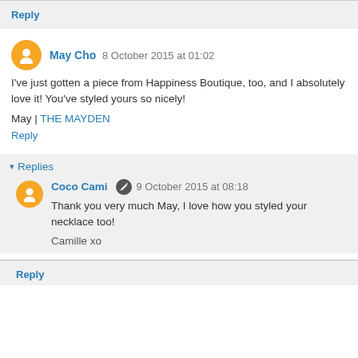Reply
May Cho 8 October 2015 at 01:02
I've just gotten a piece from Happiness Boutique, too, and I absolutely love it! You've styled yours so nicely!
May | THE MAYDEN
Reply
Replies
Coco Cami 9 October 2015 at 08:18
Thank you very much May, I love how you styled your necklace too!

Camille xo
Reply